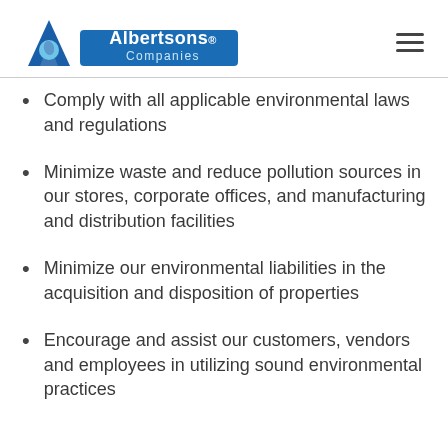[Figure (logo): Albertsons Companies logo with blue triangle and leaf icon]
Comply with all applicable environmental laws and regulations
Minimize waste and reduce pollution sources in our stores, corporate offices, and manufacturing and distribution facilities
Minimize our environmental liabilities in the acquisition and disposition of properties
Encourage and assist our customers, vendors and employees in utilizing sound environmental practices